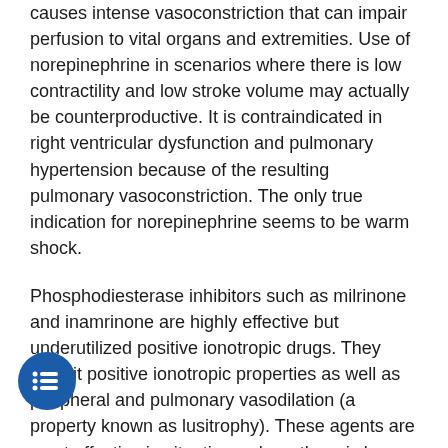causes intense vasoconstriction that can impair perfusion to vital organs and extremities. Use of norepinephrine in scenarios where there is low contractility and low stroke volume may actually be counterproductive. It is contraindicated in right ventricular dysfunction and pulmonary hypertension because of the resulting pulmonary vasoconstriction. The only true indication for norepinephrine seems to be warm shock.
Phosphodiesterase inhibitors such as milrinone and inamrinone are highly effective but underutilized positive ionotropic drugs. They exhibit positive ionotropic properties as well as peripheral and pulmonary vasodilation (a property known as lusitrophy). These agents are most effective in situations where there is low contractility as in heart failure or high pulmonary pressures. Vasopressin is recommended in the PALS guidelines, mostly because of a study that revealed vasopressin to be